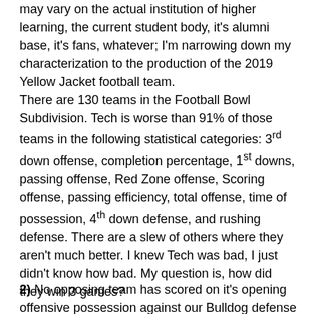may vary on the actual institution of higher learning, the current student body, it's alumni base, it's fans, whatever; I'm narrowing down my characterization to the production of the 2019 Yellow Jacket football team.
There are 130 teams in the Football Bowl Subdivision. Tech is worse than 91% of those teams in the following statistical categories: 3rd down offense, completion percentage, 1st downs, passing offense, Red Zone offense, Scoring offense, passing efficiency, total offense, time of possession, 4th down defense, and rushing defense. There are a slew of others where they aren't much better. I knew Tech was bad, I just didn't know how bad. My question is, how did they win 3 games?
2) No opposing team has scored on it's opening offensive possession against our Bulldog defense